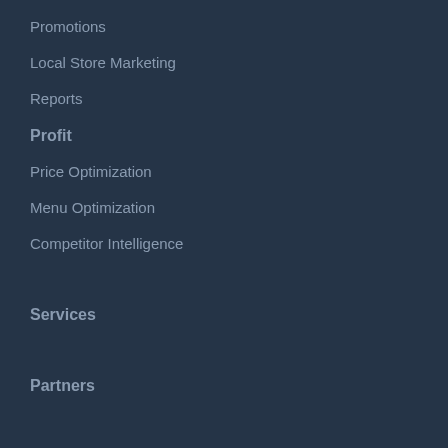Promotions
Local Store Marketing
Reports
Profit
Price Optimization
Menu Optimization
Competitor Intelligence
Services
Partners
Resources
Blog
Case Studies